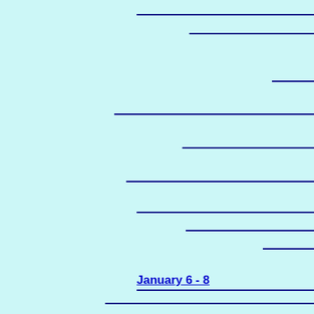[Figure (other): Form template with horizontal lines at various indentations on a light cyan background, with a date label 'January 6 - 8' at the bottom]
January 6 - 8